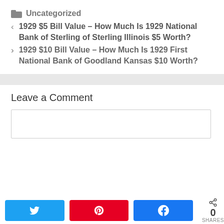Uncategorized
1929 $5 Bill Value – How Much Is 1929 National Bank of Sterling of Sterling Illinois $5 Worth?
1929 $10 Bill Value – How Much Is 1929 First National Bank of Goodland Kansas $10 Worth?
Leave a Comment